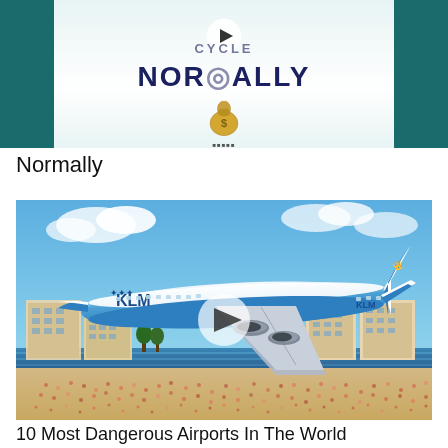[Figure (screenshot): Thumbnail image with dark teal background showing stylized text 'NORMALLY' in dark navy bold font with a money bag icon below it, and a play button circle overlay. Partial text above is partially cropped.]
Normally
[Figure (photo): Photo of a KLM Boeing 747 aircraft in blue and white livery flying very low over a crowded beach with hotels and resort buildings in the background. A play button circle is overlaid on the center of the image.]
10 Most Dangerous Airports In The World